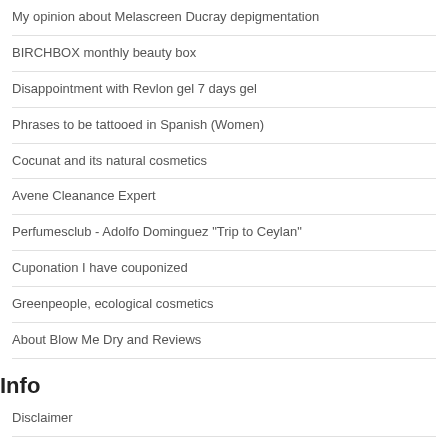My opinion about Melascreen Ducray depigmentation
BIRCHBOX monthly beauty box
Disappointment with Revlon gel 7 days gel
Phrases to be tattooed in Spanish (Women)
Cocunat and its natural cosmetics
Avene Cleanance Expert
Perfumesclub - Adolfo Dominguez "Trip to Ceylan"
Cuponation I have couponized
Greenpeople, ecological cosmetics
About Blow Me Dry and Reviews
Info
Disclaimer
Privacy Policy